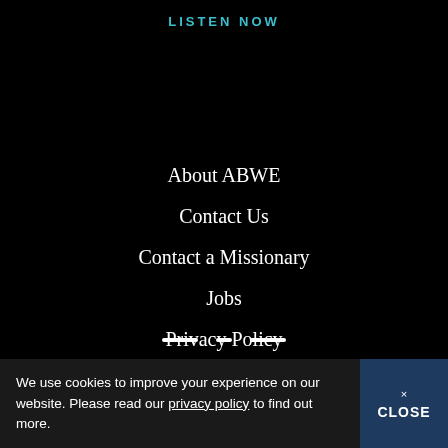LISTEN NOW
About ABWE
Contact Us
Contact a Missionary
Jobs
Privacy Policy
Message Archives
Protecting Our Children
Terms and Conditions
We use cookies to improve your experience on our website. Please read our privacy policy to find out more.
× CLOSE